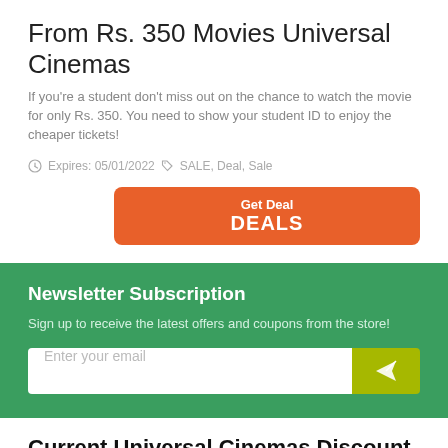From Rs. 350 Movies Universal Cinemas
If you're a student don't miss out on the chance to watch the movie for only Rs. 350. You need to show your student ID to enjoy the cheaper tickets!
Expires: 05/01/2022  SALE, Deal, Sale
Get Deal
DEALS
Newsletter Subscription
Sign up to receive the latest offers and coupons from the store!
Enter your email
Current Universal Cinemas Discount Codes & Offers
These Universal Cinemas coupons have expired but may still work